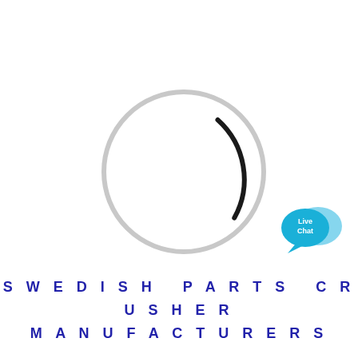[Figure (logo): A loading spinner circle outline with a black arc segment at the bottom-left, predominantly light gray circle outline. A teal/cyan live chat bubble icon with two overlapping speech bubbles and white text 'Live Chat' is in the upper right area.]
SWEDISH PARTS CRUSHER MANUFACTURERS